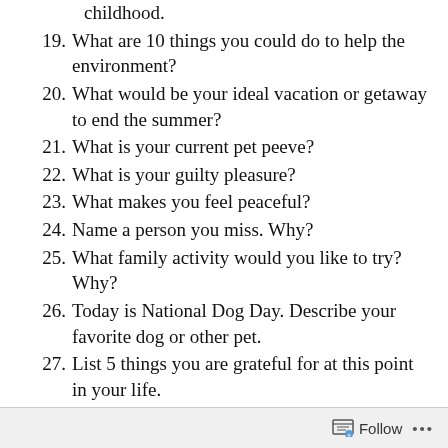childhood.
19. What are 10 things you could do to help the environment?
20. What would be your ideal vacation or getaway to end the summer?
21. What is your current pet peeve?
22. What is your guilty pleasure?
23. What makes you feel peaceful?
24. Name a person you miss. Why?
25. What family activity would you like to try? Why?
26. Today is National Dog Day. Describe your favorite dog or other pet.
27. List 5 things you are grateful for at this point in your life.
Follow ...